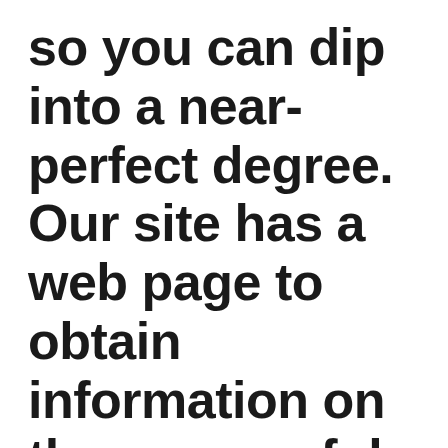so you can dip into a near-perfect degree. Our site has a web page to obtain information on the successful video clip online poker software application